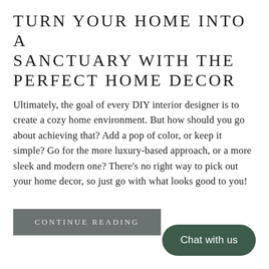TURN YOUR HOME INTO A SANCTUARY WITH THE PERFECT HOME DECOR
Ultimately, the goal of every DIY interior designer is to create a cozy home environment. But how should you go about achieving that? Add a pop of color, or keep it simple? Go for the more luxury-based approach, or a more sleek and modern one? There’s no right way to pick out your home decor, so just go with what looks good to you!
CONTINUE READING
Chat with us